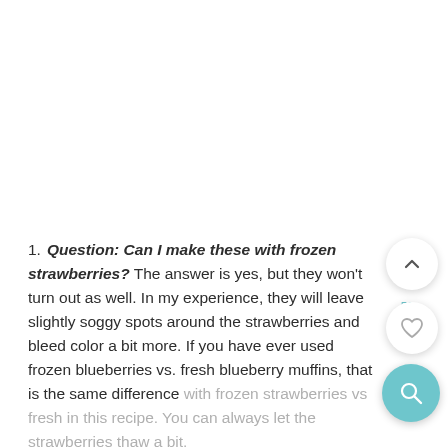Question: Can I make these with frozen strawberries? The answer is yes, but they won't turn out as well. In my experience, they will leave slightly soggy spots around the strawberries and bleed color a bit more. If you have ever used frozen blueberries vs. fresh blueberry muffins, that is the same difference with frozen strawberries vs fresh in this recipe. You can always let the strawberries thaw a bit.